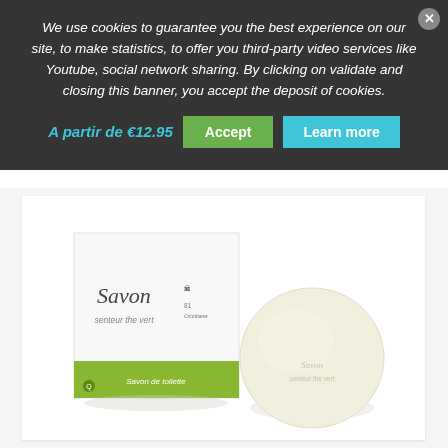We use cookies to guarantee you the best experience on our site, to make statistics, to offer you third-party video services like Youtube, social network sharing. By clicking on validate and closing this banner, you accept the deposit of cookies.
A partir de €12.95
Accept
Learn more
[Figure (photo): Product photo showing a soap bar with its packaging box. The box is white with a green stripe at the bottom, branded 'Savon' with 'senteur the vert' text. Next to it is a round cream/ivory colored soap bar.]